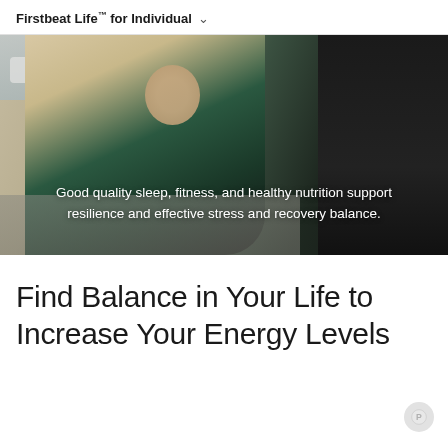Firstbeat Life™ for Individual
[Figure (photo): Outdoor photo of a woman in a beige blazer over a teal/green top, walking in a city street environment. Overlaid white text reads: 'Good quality sleep, fitness, and healthy nutrition support resilience and effective stress and recovery balance.']
Find Balance in Your Life to Increase Your Energy Levels